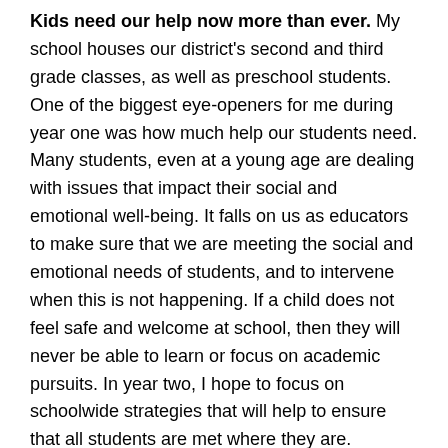Kids need our help now more than ever. My school houses our district's second and third grade classes, as well as preschool students. One of the biggest eye-openers for me during year one was how much help our students need. Many students, even at a young age are dealing with issues that impact their social and emotional well-being. It falls on us as educators to make sure that we are meeting the social and emotional needs of students, and to intervene when this is not happening. If a child does not feel safe and welcome at school, then they will never be able to learn or focus on academic pursuits. In year two, I hope to focus on schoolwide strategies that will help to ensure that all students are met where they are.
Some of our systems are tired. I always find it amazing when teachers are moving classrooms or leaving their classroom, and they pass on materials that date as far